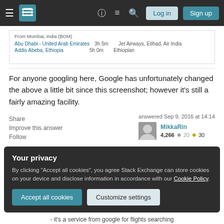Stack Exchange navigation bar with Log in and Sign up buttons
[Figure (screenshot): Partial screenshot of Google Flights results from Mumbai, India (BOM), showing destinations Abu Dhabi - United Arab Emirates (3h 5m, Jet Airways, Etihad, Air India) and Addis Ababa, Ethiopia (5h 0m, Ethiopian)]
For anyone googling here, Google has unfortunately changed the above a little bit since this screenshot; however it's still a fairly amazing facility.
Share   Improve this answer   Follow
answered Sep 9, 2016 at 14:14
MikkaRin
4,266  20  30
Your privacy
By clicking "Accept all cookies", you agree Stack Exchange can store cookies on your device and disclose information in accordance with our Cookie Policy.
Accept all cookies   Customize settings
- it's a service from google for flights searching